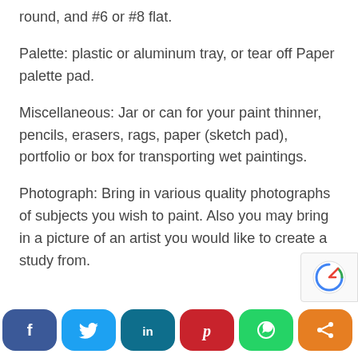round, and #6 or #8 flat.
Palette: plastic or aluminum tray, or tear off Paper palette pad.
Miscellaneous: Jar or can for your paint thinner, pencils, erasers, rags, paper (sketch pad), portfolio or box for transporting wet paintings.
Photograph: Bring in various quality photographs of subjects you wish to paint. Also you may bring in a picture of an artist you would like to create a study from.
[Figure (infographic): Social media sharing buttons: Facebook (dark blue), Twitter (blue), LinkedIn (dark teal), Pinterest (red), WhatsApp (green), Share (orange)]